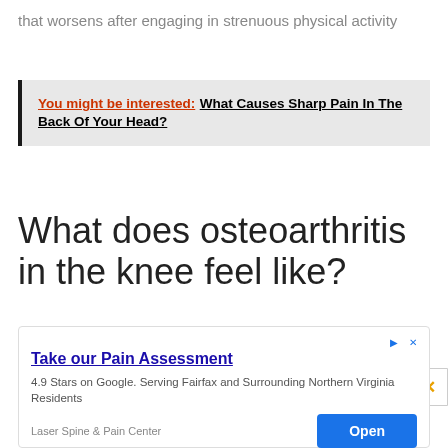that worsens after engaging in strenuous physical activity
You might be interested: What Causes Sharp Pain In The Back Of Your Head?
What does osteoarthritis in the knee feel like?
Pain in the knee is the most prevalent sign of osteoarthritis in the knee, and it can make it difficult to
[Figure (screenshot): Advertisement box: Take our Pain Assessment. 4.9 Stars on Google. Serving Fairfax and Surrounding Northern Virginia Residents. Laser Spine & Pain Center. Open button.]